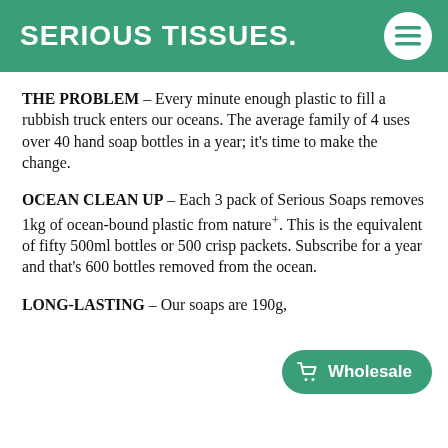SERIOUS TISSUES.
THE PROBLEM – Every minute enough plastic to fill a rubbish truck enters our oceans. The average family of 4 uses over 40 hand soap bottles in a year; it's time to make the change.
OCEAN CLEAN UP – Each 3 pack of Serious Soaps removes 1kg of ocean-bound plastic from nature+. This is the equivalent of fifty 500ml bottles or 500 crisp packets. Subscribe for a year and that's 600 bottles removed from the ocean.
LONG-LASTING – Our soaps are 190g,